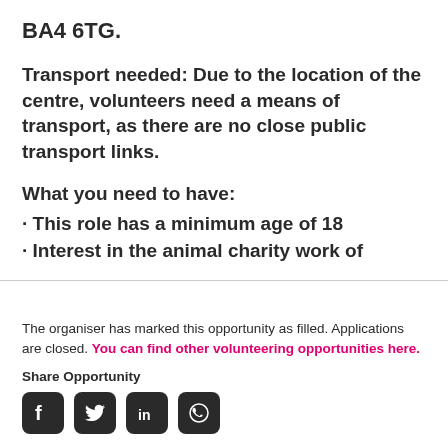BA4 6TG.
Transport needed: Due to the location of the centre, volunteers need a means of transport, as there are no close public transport links.
What you need to have:
· This role has a minimum age of 18
· Interest in the animal charity work of
The organiser has marked this opportunity as filled. Applications are closed. You can find other volunteering opportunities here.
Share Opportunity